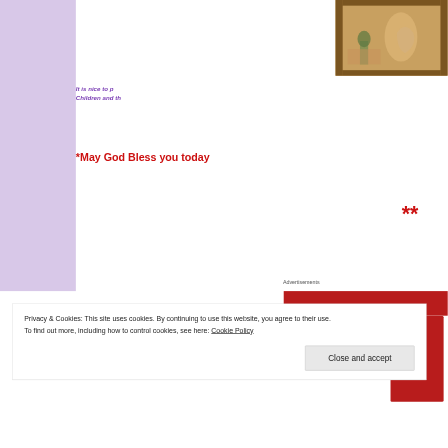[Figure (photo): Framed painting visible in upper right corner, appears to show figures in an artistic scene with warm brown and gold tones]
It is nice to p[...] Children and th[...]
*May God Bless you today[...]
**
Advertisements
Privacy & Cookies: This site uses cookies. By continuing to use this website, you agree to their use.
To find out more, including how to control cookies, see here: Cookie Policy
Close and accept